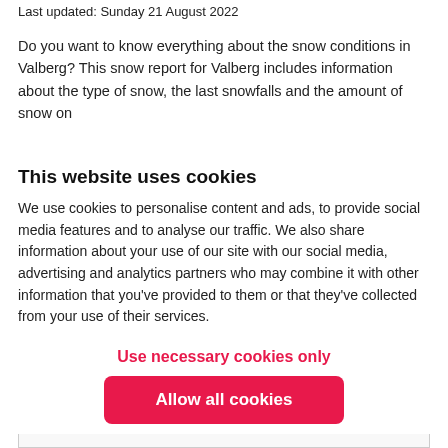Last updated: Sunday 21 August 2022
Do you want to know everything about the snow conditions in Valberg? This snow report for Valberg includes information about the type of snow, the last snowfalls and the amount of snow on
This website uses cookies
We use cookies to personalise content and ads, to provide social media features and to analyse our traffic. We also share information about your use of our site with our social media, advertising and analytics partners who may combine it with other information that you've provided to them or that they've collected from your use of their services.
Use necessary cookies only
Allow all cookies
Snow report mountain & valley